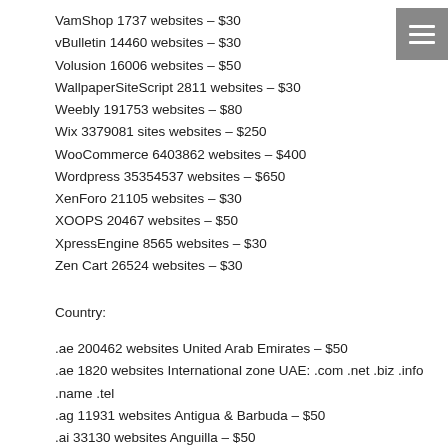VamShop 1737 websites – $30
vBulletin 14460 websites – $30
Volusion 16006 websites – $50
WallpaperSiteScript 2811 websites – $30
Weebly 191753 websites – $80
Wix 3379081 sites websites – $250
WooCommerce 6403862 websites – $400
Wordpress 35354537 websites – $650
XenForo 21105 websites – $30
XOOPS 20467 websites – $50
XpressEngine 8565 websites – $30
Zen Cart 26524 websites – $30
Country:
.ae 200462 websites United Arab Emirates – $50
.ae 1820 websites International zone UAE: .com .net .biz .info .name .tel
.ag 11931 websites Antigua & Barbuda – $50
.ai 33130 websites Anguilla – $50
.am 21995 websites Armenia – $50
.am 1684 websites International zone Armenia: .com .net .biz .info .name .tel
.ar 782608 websites Argentine Republic – $80
.ar 75486 websites International zone Argentine Republic: .com .biz .info